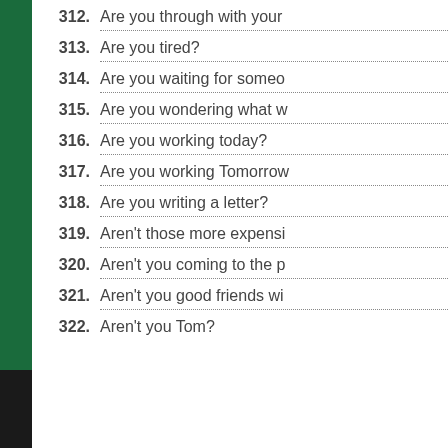312. Are you through with your
313. Are you tired?
314. Are you waiting for someo
315. Are you wondering what w
316. Are you working today?
317. Are you working Tomorrow
318. Are you writing a letter?
319. Aren't those more expensi
320. Aren't you coming to the p
321. Aren't you good friends wi
322. Aren't you Tom?